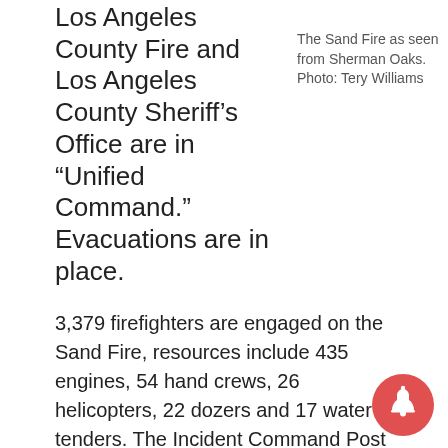Los Angeles County Fire and Los Angeles County Sheriff’s Office are in “Unified Command.” Evacuations are in place.
The Sand Fire as seen from Sherman Oaks. Photo: Tery Williams
3,379 firefighters are engaged on the Sand Fire, resources include 435 engines, 54 hand crews, 26 helicopters, 22 dozers and 17 water tenders. The Incident Command Post is located at Golden Valley High School.
July 25, 2016 at 5:51 PM
At 7:00 pm, all evacuations will be lifted and residents will be able to return home, EXCEPT